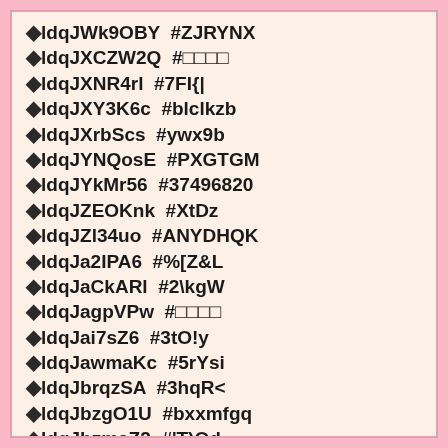◆ldqJWk9OBY  #ZJRYNX
◆ldqJXCZW2Q  #□□□□
◆ldqJXNR4rl  #7FI{|
◆ldqJXY3K6c  #blclkzb
◆ldqJXrbScs  #ywx9b
◆ldqJYNQosE  #PXGTGM
◆ldqJYkMr56  #37496820
◆ldqJZEOKnk  #XtDz
◆ldqJZl34uo  #ANYDHQK
◆ldqJa2IPA6  #%[Z&L
◆ldqJaCkARl  #2\kgW
◆ldqJagpVPw  #□□□□
◆ldqJai7sZ6  #3tO!y
◆ldqJawmaKc  #5rYsi
◆ldqJbrqzSA  #3hqR<
◆ldqJbzgO1U  #bxxmfgq
◆ldqJbzmaZ2  #'T)Od
◆ldqJc/ltoo  #NJWYKH
◆ldqJc3w2fk  #0.y&]